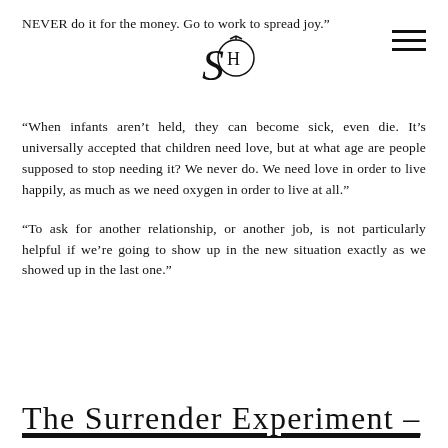NEVER do it for the money. Go to work to spread joy.
“When infants aren’t held, they can become sick, even die. It’s universally accepted that children need love, but at what age are people supposed to stop needing it? We never do. We need love in order to live happily, as much as we need oxygen in order to live at all.”
“To ask for another relationship, or another job, is not particularly helpful if we’re going to show up in the new situation exactly as we showed up in the last one.”
The Surrender Experiment –